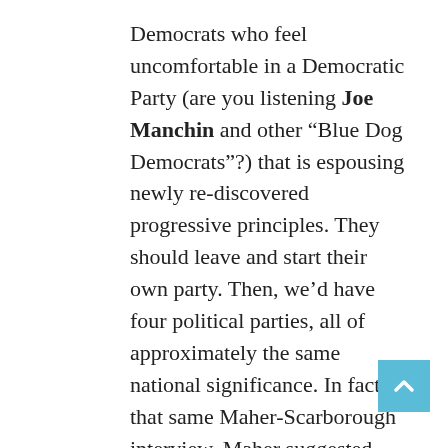Democrats who feel uncomfortable in a Democratic Party (are you listening Joe Manchin and other “Blue Dog Democrats”?) that is espousing newly re-discovered progressive principles. They should leave and start their own party. Then, we’d have four political parties, all of approximately the same national significance. In fact, in that same Maher-Scarborough interview, Maher suggested that “We need five parties.” The exact number may be up for debate but evolving to a multi-party democracy is not. It is the best way to preserve our democracy from the current political chaos that cannot